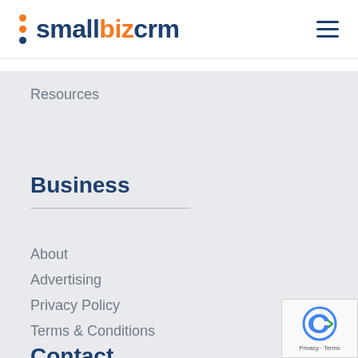smallbizcrm
Resources
Business
About
Advertising
Privacy Policy
Terms & Conditions
Contact